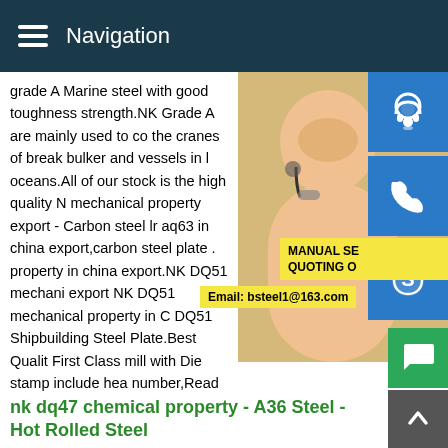Navigation
grade A Marine steel with good toughness strength.NK Grade A are mainly used to co the cranes of break bulker and vessels in I oceans.All of our stock is the high quality N mechanical property export - Carbon steel lr aq63 in china export,carbon steel plate . property in china export.NK DQ51 mechani export NK DQ51 mechanical property in C DQ51 Shipbuilding Steel Plate.Best Qualit First Class mill with Die stamp include hea number,Read
[Figure (photo): Customer service representative woman with headset, with blue contact icons (headset, phone, Skype) on the right side]
MANUAL SE QUOTING O
Email: bsteel1@163.com
nk dq47 chemical property - A36 Steel - Hot Rolled Steel
nk dq51 chemical property - thoogendijkenzonen.nl.nk dq51 chemical property nk dq51 mechanical property export.NK DQ